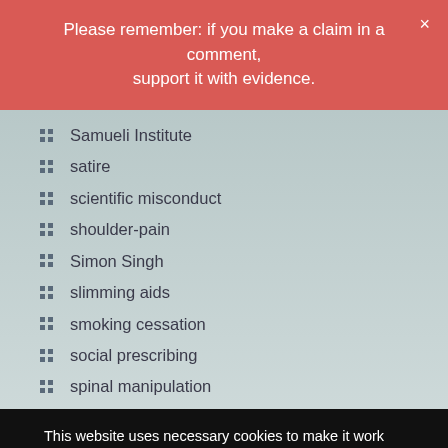Please remember: if you make a claim in a comment, support it with evidence.
Samueli Institute
satire
scientific misconduct
shoulder-pain
Simon Singh
slimming aids
smoking cessation
social prescribing
spinal manipulation
This website uses necessary cookies to make it work and to remember your preferences. Click on 'Cookie settings' to control your consent for other cookies or click on 'Accept all' to consent to the use of all cookies. By continuing to browse this website you are agreeing to our Privacy policy.
Accept all | Cookie settings | Privacy policy